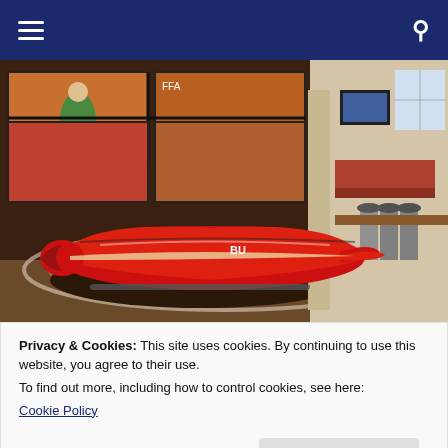Navigation bar with hamburger menu and search icon
[Figure (photo): Interior of a sports venue or museum featuring a red bobsled on display in the foreground, with large video screens showing an athlete in the background, and a lounge area with bar stools visible to the right.]
Privacy & Cookies: This site uses cookies. By continuing to use this website, you agree to their use.
To find out more, including how to control cookies, see here:
Cookie Policy
Close and accept